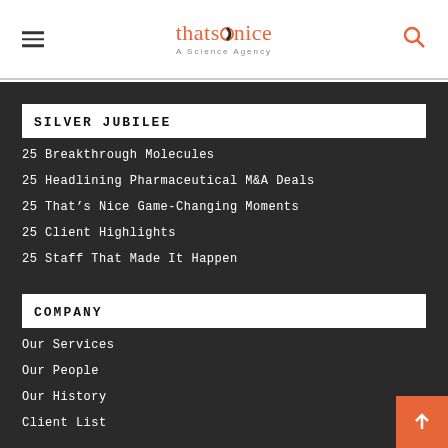thats nice – A Science Agency
SILVER JUBILEE
25 Breakthrough Molecules
25 Headlining Pharmaceutical M&A Deals
25 That's Nice Game-Changing Moments
25 Client Highlights
25 Staff That Made It Happen
COMPANY
Our Services
Our People
Our History
Client List